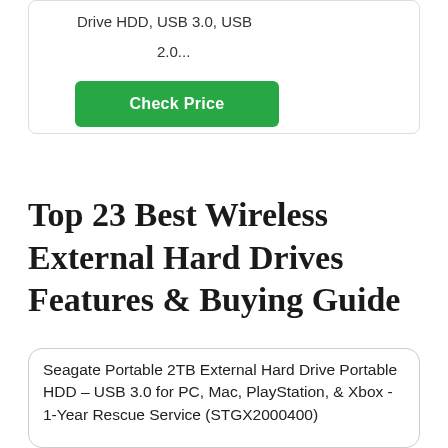Drive HDD, USB 3.0, USB 2.0...
[Figure (other): Check Price button — green rounded rectangle with white bold text]
Top 23 Best Wireless External Hard Drives Features & Buying Guide
Seagate Portable 2TB External Hard Drive Portable HDD – USB 3.0 for PC, Mac, PlayStation, & Xbox - 1-Year Rescue Service (STGX2000400)